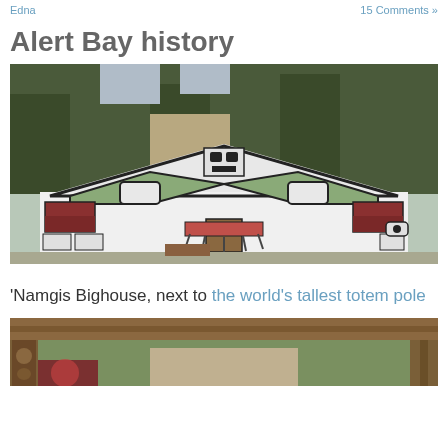Edna   15 Comments »
Alert Bay history
[Figure (photo): Photograph of the 'Namgis Bighouse building facade with large colorful Indigenous Northwest Coast art mural featuring a thunderbird/eagle design in black, green, red, and white. Trees visible in background.]
'Namgis Bighouse, next to the world's tallest totem pole
[Figure (photo): Partial photograph showing a wooden gate or entrance structure with carved Indigenous art visible in the lower portion, trees visible in background.]